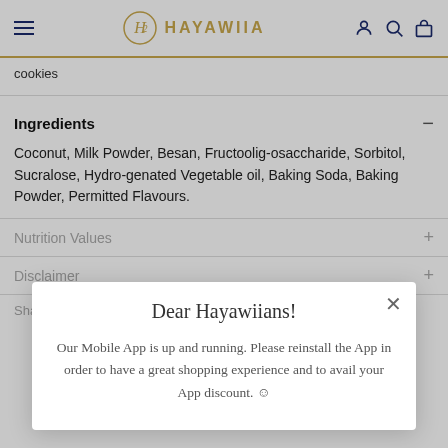HAYAWIIA
cookies
Ingredients
Coconut, Milk Powder, Besan, Fructoolig-osaccharide, Sorbitol, Sucralose, Hydro-genated Vegetable oil, Baking Soda, Baking Powder, Permitted Flavours.
Nutrition Values
Disclaimer
Share
Dear Hayawiians!

Our Mobile App is up and running. Please reinstall the App in order to have a great shopping experience and to avail your App discount. ☺